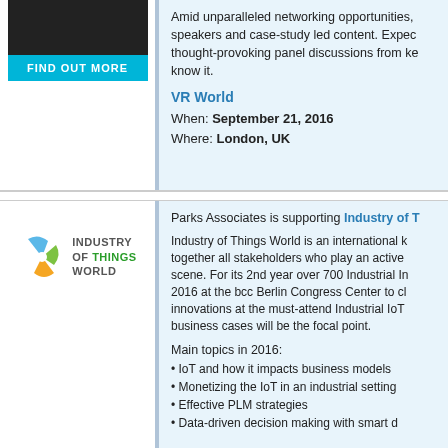[Figure (photo): Dark image placeholder with FIND OUT MORE button below it]
Amid unparalleled networking opportunities, speakers and case-study led content. Expect thought-provoking panel discussions from ke... know it.
VR World
When: September 21, 2016
Where: London, UK
[Figure (logo): Industry of Things World logo - colorful pinwheel icon with text INDUSTRY OF THINGS WORLD]
Parks Associates is supporting Industry of T...
Industry of Things World is an international k... together all stakeholders who play an active... scene. For its 2nd year over 700 Industrial In... 2016 at the bcc Berlin Congress Center to cl... innovations at the must-attend Industrial IoT... business cases will be the focal point.
Main topics in 2016:
• IoT and how it impacts business models
• Monetizing the IoT in an industrial setting
• Effective PLM strategies
• Data-driven decision making with smart d...